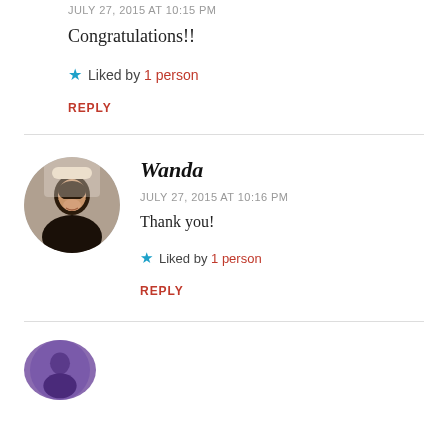JULY 27, 2015 AT 10:15 PM
Congratulations!!
Liked by 1 person
REPLY
Wanda
JULY 27, 2015 AT 10:16 PM
Thank you!
Liked by 1 person
REPLY